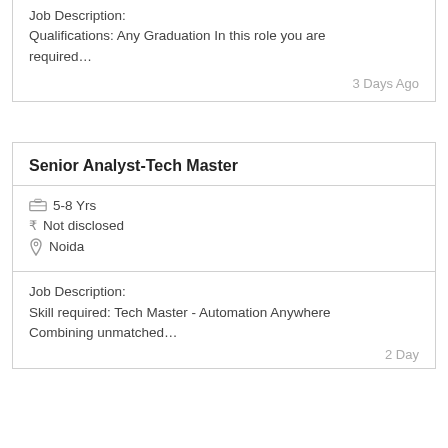Job Description:
Qualifications: Any Graduation In this role you are required…
3 Days Ago
Senior Analyst-Tech Master
5-8 Yrs
Not disclosed
Noida
Job Description:
Skill required: Tech Master - Automation Anywhere Combining unmatched…
2 Days Ago